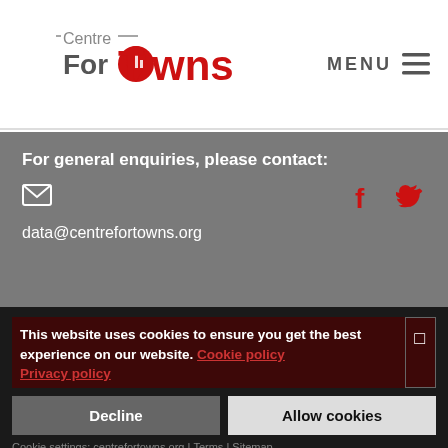[Figure (logo): Centre For Towns logo with red location pin incorporating building silhouette, and 'Centre For Towns' text in grey and red]
MENU ≡
For general enquiries, please contact:
data@centrefortowns.org
This website uses cookies to ensure you get the best experience on our website. Cookie policy
Privacy policy
Decline
Allow cookies
Cookie settings:  centrefortowns.org | Terms | Sitemap
✓Necessary | ✓Preferences | ✓Statistics